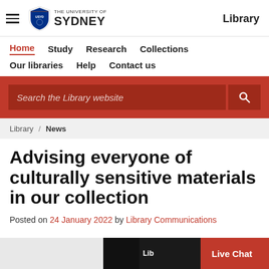The University of Sydney Library — Home Study Research Collections Our libraries Help Contact us
Search the Library website
Library / News
Advising everyone of culturally sensitive materials in our collection
Posted on 24 January 2022 by Library Communications
[Figure (screenshot): Bottom strip showing partial images and a Live Chat button on a red background.]